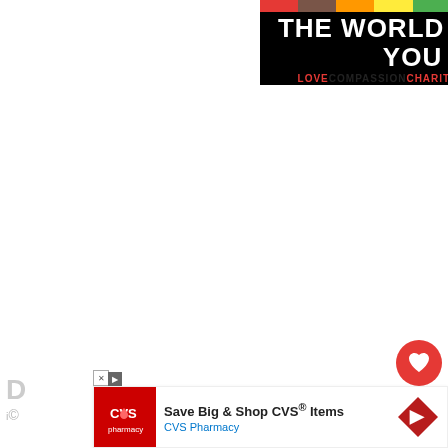[Figure (illustration): Banner advertisement with rainbow stripes at top, white bold text 'THE WORLD NEEDS YOU' on black background, subtitle 'LOVE COMPASSION CHARITY BELONGING' with LOVE and CHARITY in red, rest in black]
[Figure (screenshot): White content area (blank) with social media interaction buttons: red heart button showing 6.6K likes, and a share button]
[Figure (screenshot): What's Next panel showing a thumbnail image and text 'The Power Of Walking Awa...' with mute icon]
[Figure (screenshot): CVS Pharmacy advertisement: 'Save Big & Shop CVS® Items' with CVS Pharmacy logo and navigation arrow icon]